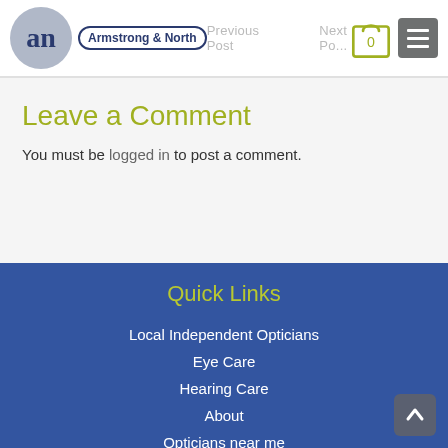Armstrong & North — Previous Post | Next Post | Cart 0 | Menu
Leave a Comment
You must be logged in to post a comment.
Quick Links
Local Independent Opticians
Eye Care
Hearing Care
About
Opticians near me